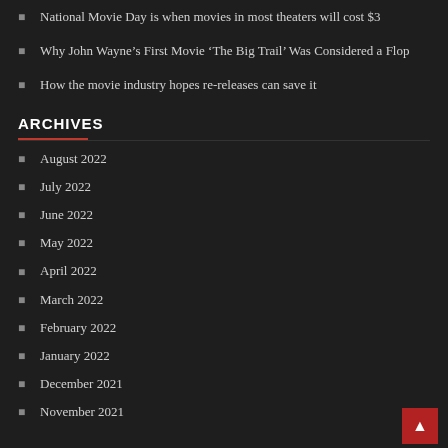National Movie Day is when movies in most theaters will cost $3
Why John Wayne’s First Movie ‘The Big Trail’ Was Considered a Flop
How the movie industry hopes re-releases can save it
ARCHIVES
August 2022
July 2022
June 2022
May 2022
April 2022
March 2022
February 2022
January 2022
December 2021
November 2021